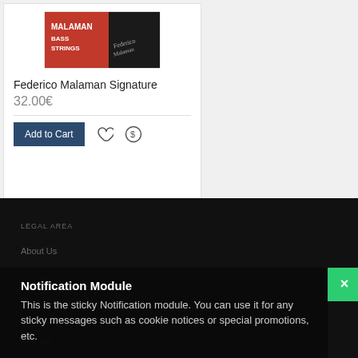[Figure (photo): Product image showing Malaman Bass Strings packaging with red and black design and signature]
Federico Malaman Signature
32.00€
Add to Cart
LEGAL AREA
About Us
Term and conditions
Returns
Notification Module
This is the sticky Notification module. You can use it for any sticky messages such as cookie notices or special promotions, etc.